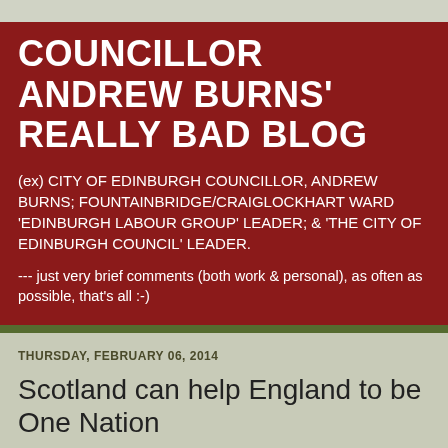COUNCILLOR ANDREW BURNS' REALLY BAD BLOG
(ex) CITY OF EDINBURGH COUNCILLOR, ANDREW BURNS; FOUNTAINBRIDGE/CRAIGLOCKHART WARD 'EDINBURGH LABOUR GROUP' LEADER; & 'THE CITY OF EDINBURGH COUNCIL' LEADER.
--- just very brief comments (both work & personal), as often as possible, that's all :-)
THURSDAY, FEBRUARY 06, 2014
Scotland can help England to be One Nation